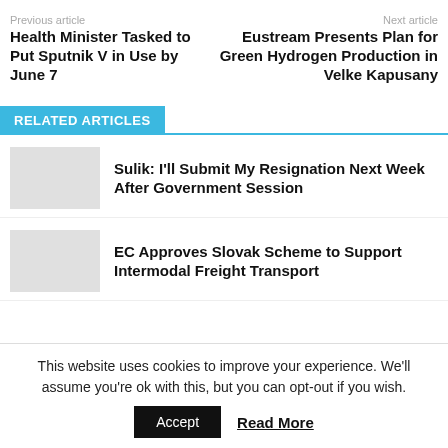Previous article
Next article
Health Minister Tasked to Put Sputnik V in Use by June 7
Eustream Presents Plan for Green Hydrogen Production in Velke Kapusany
RELATED ARTICLES
Sulik: I'll Submit My Resignation Next Week After Government Session
EC Approves Slovak Scheme to Support Intermodal Freight Transport
This website uses cookies to improve your experience. We'll assume you're ok with this, but you can opt-out if you wish.